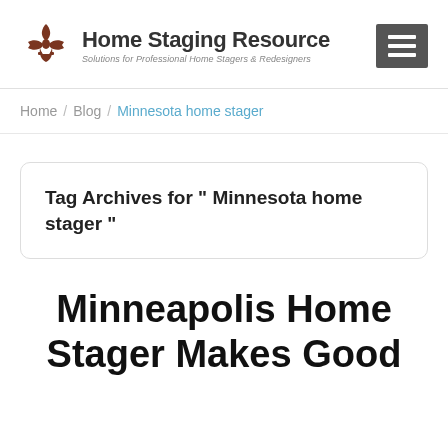Home Staging Resource — Solutions for Professional Home Stagers & Redesigners
Home / Blog / Minnesota home stager
Tag Archives for " Minnesota home stager "
Minneapolis Home Stager Makes Good